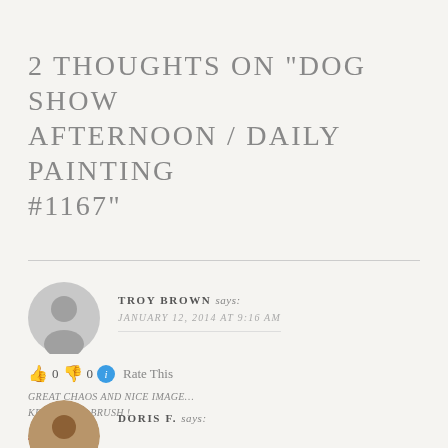2 THOUGHTS ON “DOG SHOW AFTERNOON / DAILY PAINTING #1167”
TROY BROWN says:
JANUARY 12, 2014 AT 9:16 AM
👍 0 👎 0 ℹ Rate This
GREAT CHAOS AND NICE IMAGE...
KEEP A WET BRUSH !
Reply
DORIS F. says: